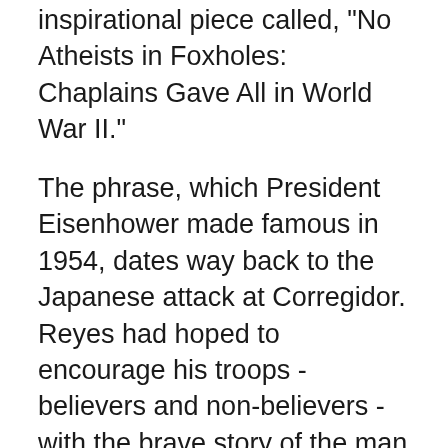inspirational piece called, "No Atheists in Foxholes: Chaplains Gave All in World War II."
The phrase, which President Eisenhower made famous in 1954, dates way back to the Japanese attack at Corregidor. Reyes had hoped to encourage his troops - believers and non-believers - with the brave story of the man who first coined the quote.
Turns out, the story only encouraged the attack of anti-faith zealots. Mikey Weinstein, whose own statements are fairly well-known ("Christian monsters of human degradation,